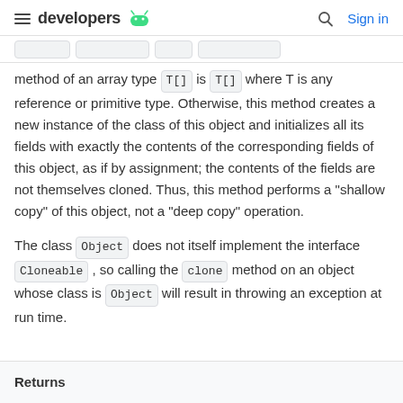developers [android logo] | [search] Sign in
method of an array type T[] is T[] where T is any reference or primitive type. Otherwise, this method creates a new instance of the class of this object and initializes all its fields with exactly the contents of the corresponding fields of this object, as if by assignment; the contents of the fields are not themselves cloned. Thus, this method performs a "shallow copy" of this object, not a "deep copy" operation.
The class Object does not itself implement the interface Cloneable, so calling the clone method on an object whose class is Object will result in throwing an exception at run time.
Returns